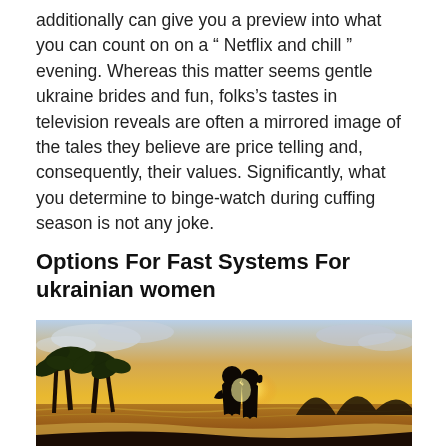additionally can give you a preview into what you can count on on a “ Netflix and chill ” evening. Whereas this matter seems gentle ukraine brides and fun, folks’s tastes in television reveals are often a mirrored image of the tales they believe are price telling and, consequently, their values. Significantly, what you determine to binge-watch during cuffing season is not any joke.
Options For Fast Systems For ukrainian women
[Figure (photo): A couple silhouetted against a golden sunset on a beach with palm trees, embracing each other with ocean waves in the background.]